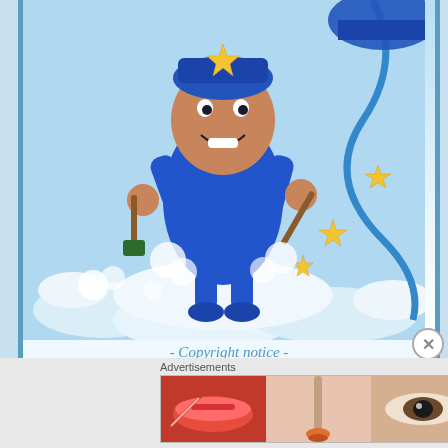[Figure (illustration): Cartoon Poptropica character in blue outfit on clouds, holding tools with gold stars scattered around, blue rope/hose in background]
- Copyright notice -
© Please do not plagiarize from the Poptropica Help Blog. All Poptropica images on our website are from Poptropica.com, owned by StoryArc Media and Sandbox Networks, Inc.
Advertisements
[Figure (screenshot): ULTA Beauty advertisement banner showing makeup products and eyes]